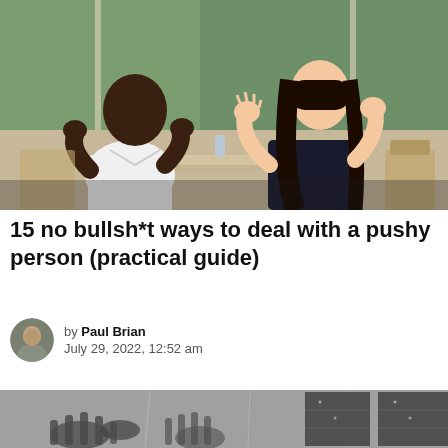[Figure (photo): Two people sitting across from each other at a table in a cafe or restaurant with large windows, appearing to have an animated discussion or argument. One person is Black male in a white shirt, the other is a white female with long dark hair in a dark top, both gesturing with their hands.]
15 no bullsh*t ways to deal with a pushy person (practical guide)
by Paul Brian
July 29, 2022, 12:52 am
[Figure (photo): Black and white photograph showing hands, appears to be part of an article illustration.]